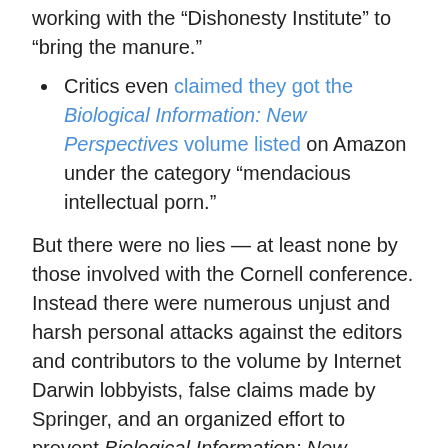working with the “Dishonesty Institute” to “bring the manure.”
Critics even claimed they got the Biological Information: New Perspectives volume listed on Amazon under the category “mendacious intellectual porn.”
But there were no lies — at least none by those involved with the Cornell conference. Instead there were numerous unjust and harsh personal attacks against the editors and contributors to the volume by Internet Darwin lobbyists, false claims made by Springer, and an organized effort to prevent Biological Information: New Perspectives from being published.